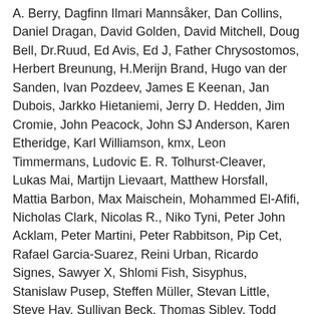A. Berry, Dagfinn Ilmari Mannsåker, Dan Collins, Daniel Dragan, David Golden, David Mitchell, Doug Bell, Dr.Ruud, Ed Avis, Ed J, Father Chrysostomos, Herbert Breunung, H.Merijn Brand, Hugo van der Sanden, Ivan Pozdeev, James E Keenan, Jan Dubois, Jarkko Hietaniemi, Jerry D. Hedden, Jim Cromie, John Peacock, John SJ Anderson, Karen Etheridge, Karl Williamson, kmx, Leon Timmermans, Ludovic E. R. Tolhurst-Cleaver, Lukas Mai, Martijn Lievaart, Matthew Horsfall, Mattia Barbon, Max Maischein, Mohammed El-Afifi, Nicholas Clark, Nicolas R., Niko Tyni, Peter John Acklam, Peter Martini, Peter Rabbitson, Pip Cet, Rafael Garcia-Suarez, Reini Urban, Ricardo Signes, Sawyer X, Shlomi Fish, Sisyphus, Stanislaw Pusep, Steffen Müller, Stevan Little, Steve Hay, Sullivan Beck, Thomas Sibley, Todd Rinaldo, Tom Hukins, Tony Cook, Unicode Consortium, Victor Adam, Vincent Pit, Vladimir Timofeev, Yves Orton, Zachary Storer, Zefram.
The list above is almost certainly incomplete as it is automatically generated from version control history. In particular, it may not include the names of the f...